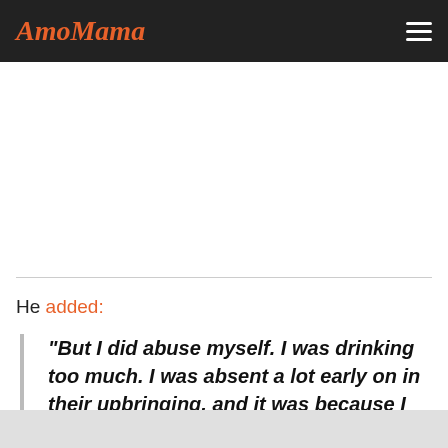AmoMama
He added:
"But I did abuse myself. I was drinking too much. I was absent a lot early on in their upbringing, and it was because I was dealing